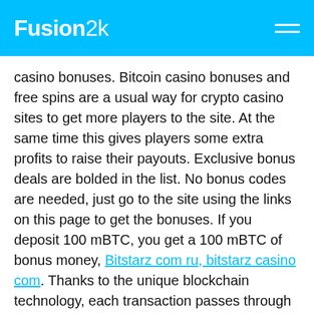Fusion2k
casino bonuses. Bitcoin casino bonuses and free spins are a usual way for crypto casino sites to get more players to the site. At the same time this gives players some extra profits to raise their payouts. Exclusive bonus deals are bolded in the list. No bonus codes are needed, just go to the site using the links on this page to get the bonuses. If you deposit 100 mBTC, you get a 100 mBTC of bonus money, Bitstarz com ru, bitstarz casino com. Thanks to the unique blockchain technology, each transaction passes through a unique route, consisting of random nods. Different payment systems work in different countries. Bitcoin is the first currency that can be used everywhere in the world. Instead, it is a really universal system, which works in any corner of the world. The only requirement is Internet access. Commissions are very low, somewhat about 5-10 cent per transaction. This is a principal difference of Bitcoin from traditional